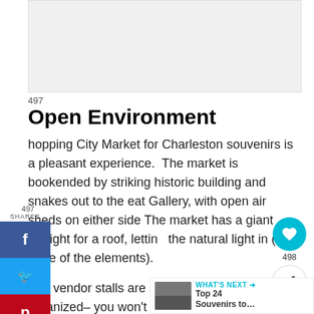[Figure (photo): Top image placeholder, light gray background]
Open Environment
hopping City Market for Charleston souvenirs is a pleasant experience.  The market is bookended by striking historic building and snakes out to the eat Gallery, with open air sheds on either side The market has a giant skylight for a roof, letting the natural light in (but none of the elements).
The vendor stalls are spacious and well organized– you won't feel cramped or cluttered